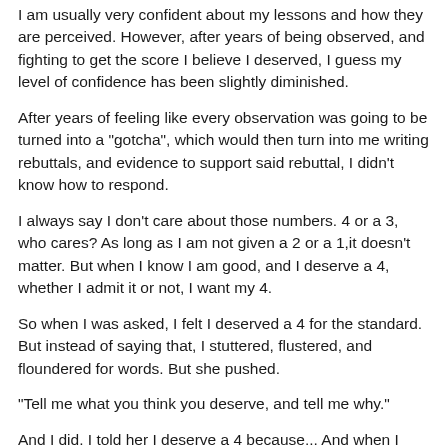I am usually very confident about my lessons and how they are perceived. However, after years of being observed, and fighting to get the score I believe I deserved, I guess my level of confidence has been slightly diminished.
After years of feeling like every observation was going to be turned into a "gotcha", which would then turn into me writing rebuttals, and evidence to support said rebuttal, I didn't know how to respond.
I always say I don't care about those numbers. 4 or a 3, who cares? As long as I am not given a 2 or a 1,it doesn't matter. But when I know I am good, and I deserve a 4, whether I admit it or not, I want my 4.
So when I was asked, I felt I deserved a 4 for the standard. But instead of saying that, I stuttered, flustered, and floundered for words. But she pushed.
"Tell me what you think you deserve, and tell me why."
And I did. I told her I deserve a 4 because... And when I was done, she agreed. Not only did she agree, but she pointed out things that happened during my lesson that I didn't even